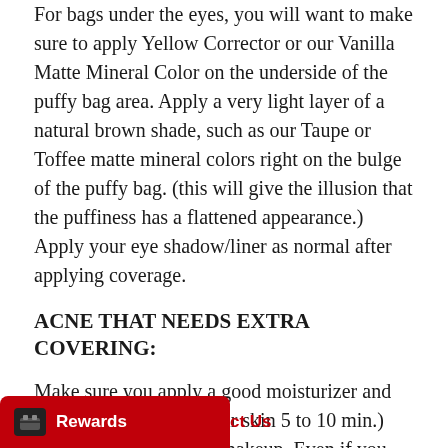For bags under the eyes, you will want to make sure to apply Yellow Corrector or our Vanilla Matte Mineral Color on the underside of the puffy bag area. Apply a very light layer of a natural brown shade, such as our Taupe or Toffee matte mineral colors right on the bulge of the puffy bag. (this will give the illusion that the puffiness has a flattened appearance.) Apply your eye shadow/liner as normal after applying coverage.
ACNE THAT NEEDS EXTRA COVERING:
Make sure you apply a good moisturizer and letting it absorb into your skin 5 to 10 min.) before buffing on your makeup. Even if you have severely oily skin, you need to apply at least a few drops of our 100% Argan Oil to give a smooth surface for applying your minerals. dried out, your mineral application